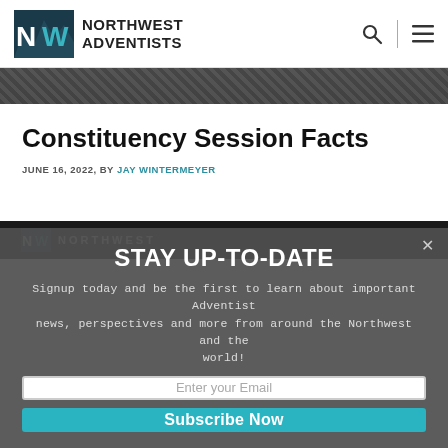NORTHWEST ADVENTISTS
[Figure (illustration): Dark banner/hero image strip showing mountains or nature scene]
Constituency Session Facts
JUNE 16, 2022, BY JAY WINTERMEYER
[Figure (illustration): Dark footer area with Northwest Adventists logo]
STAY UP-TO-DATE
Signup today and be the first to learn about important Adventist news, perspectives and more from around the Northwest and the world!
Enter your Email
Subscribe Now